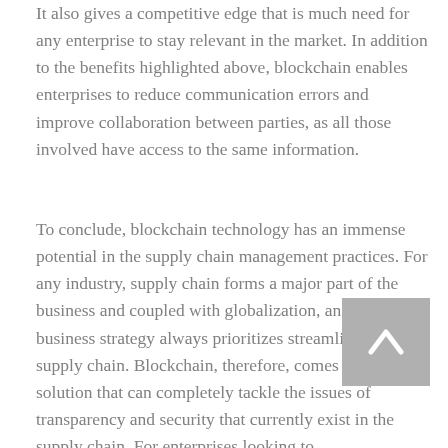It also gives a competitive edge that is much need for any enterprise to stay relevant in the market. In addition to the benefits highlighted above, blockchain enables enterprises to reduce communication errors and improve collaboration between parties, as all those involved have access to the same information.
To conclude, blockchain technology has an immense potential in the supply chain management practices. For any industry, supply chain forms a major part of the business and coupled with globalization, an effective business strategy always prioritizes streamlining the supply chain. Blockchain, therefore, comes as a solution that can completely tackle the issues of transparency and security that currently exist in the supply chain. For enterprises looking to